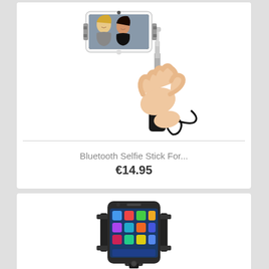[Figure (photo): Bluetooth selfie stick with a smartphone mounted showing two women taking a selfie, held by a hand with wrist strap]
Bluetooth Selfie Stick For...
€14.95
[Figure (photo): Smartphone mounted in a black phone holder/mount, showing the home screen with apps]